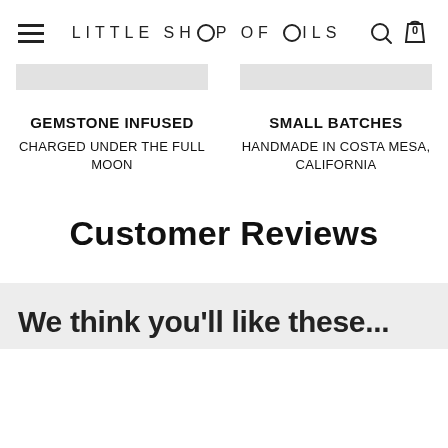LITTLE SHOP OF OILS
GEMSTONE INFUSED
CHARGED UNDER THE FULL MOON
SMALL BATCHES
HANDMADE IN COSTA MESA, CALIFORNIA
Customer Reviews
We think you'll like these...